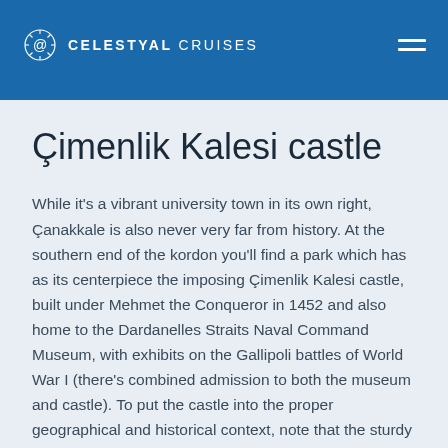CELESTYAL CRUISES
Çimenlik Kalesi castle
While it's a vibrant university town in its own right, Çanakkale is also never very far from history. At the southern end of the kordon you'll find a park which has as its centerpiece the imposing Çimenlik Kalesi castle, built under Mehmet the Conqueror in 1452 and also home to the Dardanelles Straits Naval Command Museum, with exhibits on the Gallipoli battles of World War I (there's combined admission to both the museum and castle). To put the castle into the proper geographical and historical context, note that the sturdy Kilitbahir Castle stands on the opposite side of the Dardanelles. Sultan Mehmet had